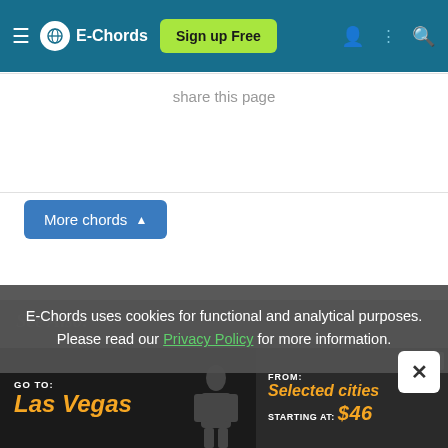E-Chords | Sign up Free
share this page
More chords ▲
See Also:
E-Chords uses cookies for functional and analytical purposes. Please read our Privacy Policy for more information.
GO TO: Las Vegas | FROM: Selected cities STARTING AT: $46